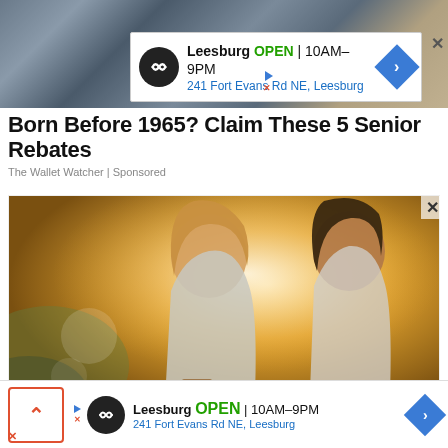[Figure (screenshot): Top banner ad for an unspecified business at Leesburg location, overlaid on a strip of stock images]
Born Before 1965? Claim These 5 Senior Rebates
The Wallet Watcher | Sponsored
[Figure (photo): Two smiling women outdoors in warm golden sunlight, one holding a cup]
[Figure (screenshot): Bottom banner ad for Leesburg business, same as top ad, with an up-chevron button on the left]